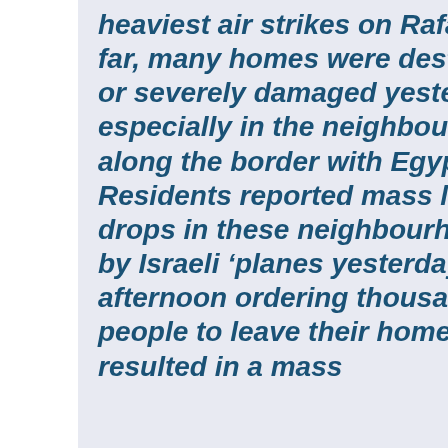heaviest air strikes on Rafah so far, many homes were destroyed or severely damaged yesterday, especially in the neighbourhoods along the border with Egypt. Residents reported mass leaflet drops in these neighbourhoods by Israeli 'planes yesterday afternoon ordering thousands of people to leave their homes. This resulted in a mass